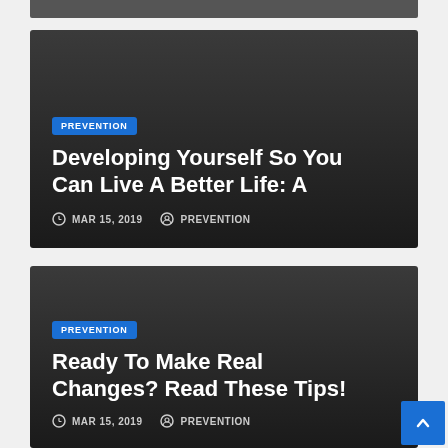[Figure (photo): Partial bottom of a photo visible at the top of the page]
[Figure (photo): Dark card with gradient background for article 1]
PREVENTION
Developing Yourself So You Can Live A Better Life: A
MAR 15, 2019  PREVENTION
[Figure (photo): Dark card with gradient background for article 2]
PREVENTION
Ready To Make Real Changes? Read These Tips!
MAR 15, 2019  PREVENTION